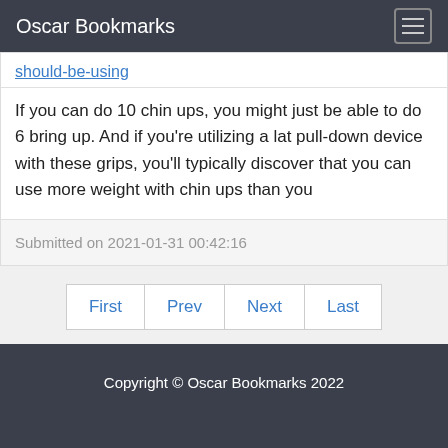Oscar Bookmarks
should-be-using
If you can do 10 chin ups, you might just be able to do 6 bring up. And if you're utilizing a lat pull-down device with these grips, you'll typically discover that you can use more weight with chin ups than you
Submitted on 2021-01-31 00:42:16
First  Prev  Next  Last
Copyright © Oscar Bookmarks 2022